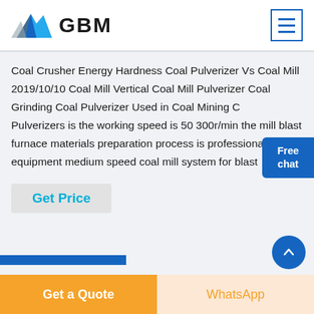[Figure (logo): GBM logo with mountain/arrow graphic and bold GBM text]
Coal Crusher Energy Hardness Coal Pulverizer Vs Coal Mill 2019/10/10 Coal Mill Vertical Coal Mill Pulverizer Coal Grinding Coal Pulverizer Used in Coal Mining Coal Pulverizers is the working speed is 50 300r/min the mill blast furnace materials preparation process is professional equipment medium speed coal mill system for blast
Get Price
Free chat
Get a Quote
WhatsApp